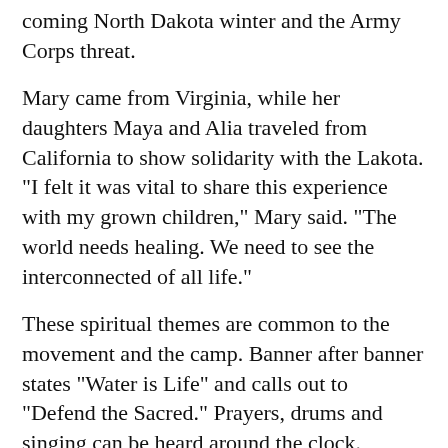coming North Dakota winter and the Army Corps threat.
Mary came from Virginia, while her daughters Maya and Alia traveled from California to show solidarity with the Lakota. "I felt it was vital to share this experience with my grown children," Mary said. "The world needs healing. We need to see the interconnected of all life."
These spiritual themes are common to the movement and the camp. Banner after banner states "Water is Life" and calls out to "Defend the Sacred." Prayers, drums and singing can be heard around the clock.
"There's no place I would rather be," Maya told us. "Seeing what's possible is inspiring. The fact the Indigenous have welcomed us is inspiring."
The backward, planet-wrecking priorities of capitalism are constantly on the minds of water